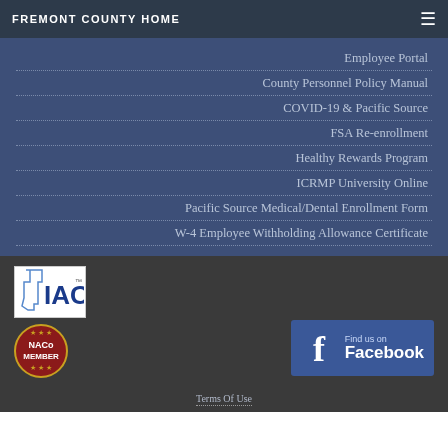FREMONT COUNTY HOME
Employee Portal
County Personnel Policy Manual
COVID-19 & Pacific Source
FSA Re-enrollment
Healthy Rewards Program
ICRMP University Online
Pacific Source Medical/Dental Enrollment Form
W-4 Employee Withholding Allowance Certificate
[Figure (logo): IAC (Idaho Association of Counties) logo — white box with blue Idaho state outline and blue IAC letters]
[Figure (logo): NACo Member badge — circular red badge with stars and text NACo MEMBER]
[Figure (logo): Facebook Find us on Facebook button — blue box with Facebook f icon and text]
Terms Of Use